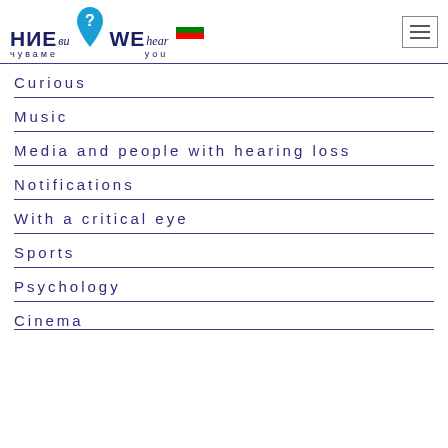НИЕ ви чуваме? WE hear you — logo with Bulgarian flag and hamburger menu
Curious
Music
Media and people with hearing loss
Notifications
With a critical eye
Sports
Psychology
Cinema